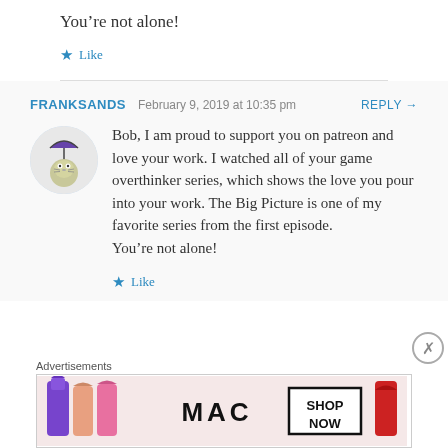You’re not alone!
★ Like
FRANKSANDS  February 9, 2019 at 10:35 pm  REPLY →
[Figure (illustration): Totoro character avatar with umbrella]
Bob, I am proud to support you on patreon and love your work. I watched all of your game overthinker series, which shows the love you pour into your work. The Big Picture is one of my favorite series from the first episode. You’re not alone!
★ Like
Advertisements
[Figure (screenshot): MAC cosmetics advertisement banner with lipsticks and SHOP NOW button]